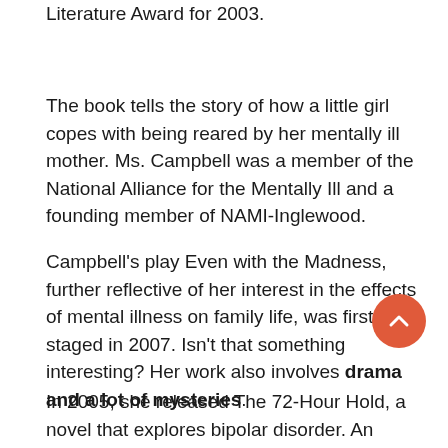Literature Award for 2003.
The book tells the story of how a little girl copes with being reared by her mentally ill mother. Ms. Campbell was a member of the National Alliance for the Mentally Ill and a founding member of NAMI-Inglewood.
Campbell's play Even with the Madness, further reflective of her interest in the effects of mental illness on family life, was first staged in 2007. Isn't that something interesting? Her work also involves drama and a lot of mysteries.
In 2005, she released The 72-Hour Hold, a novel that explores bipolar disorder. An issue